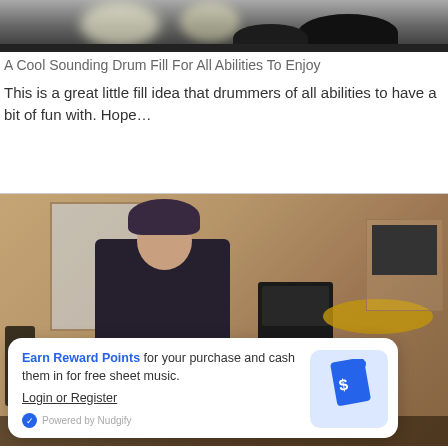[Figure (photo): Top portion of a drum kit photo with stage lighting visible at the top, dark background with drum equipment silhouettes]
A Cool Sounding Drum Fill For All Abilities To Enjoy
This is a great little fill idea that drummers of all abilities to have a bit of fun with. Hope…
[Figure (photo): A young man wearing a beanie hat in a music rehearsal room with drum kit, Marshall amplifier, music stand, and various equipment]
Earn Reward Points for your purchase and cash them in for free sheet music. Login or Register. Powered by Nudgify